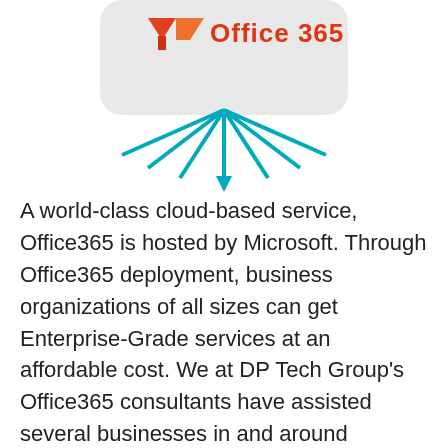[Figure (illustration): Partial Office365 logo/icon graphic at top with teal/cyan radiating lines forming a fan/umbrella shape pointing downward, on a light gray rounded rectangle background. Red and orange logo partially visible at top.]
A world-class cloud-based service, Office365 is hosted by Microsoft. Through Office365 deployment, business organizations of all sizes can get Enterprise-Grade services at an affordable cost. We at DP Tech Group's Office365 consultants have assisted several businesses in and around Bourbonnais adopt Microsoft's cloud solution over the last five years. We have noticed a visible change in these companies' operational efficiency, productivity and bottom-line.
Listed below are some of the direct benefits